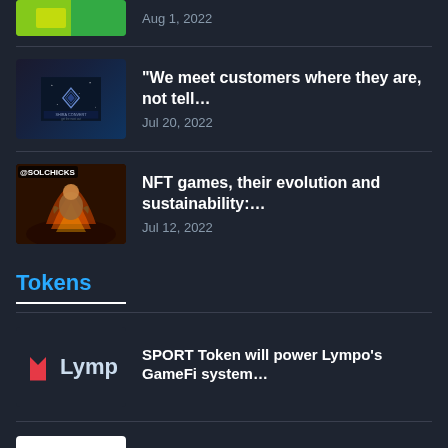[Figure (screenshot): Partial article thumbnail at top (cropped)]
Aug 1, 2022
[Figure (illustration): Shira Convert logo/thumbnail - dark blue with diamond icon]
"We meet customers where they are, not tell... Jul 20, 2022
[Figure (illustration): SolChicks game thumbnail with @SOLCHICKS label]
NFT games, their evolution and sustainability:... Jul 12, 2022
Tokens
[Figure (logo): Lympo logo with red bird icon]
SPORT Token will power Lympo's GameFi system...
[Figure (logo): Wemade logo - white background with UEMAD text]
Blockchain giant Wemade enters the stablecoin market...